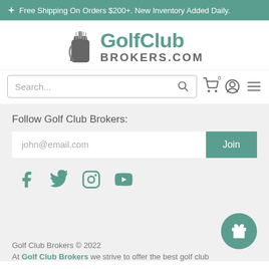+ Free Shipping On Orders $200+. New Inventory Added Daily.
[Figure (logo): GolfClub Brokers.com logo with golf bag icon]
Search...
Follow Golf Club Brokers:
john@email.com  Join
[Figure (infographic): Social media icons: Facebook, Twitter, Instagram, YouTube in teal/green color]
Golf Club Brokers © 2022
At Golf Club Brokers we strive to offer the best golf club